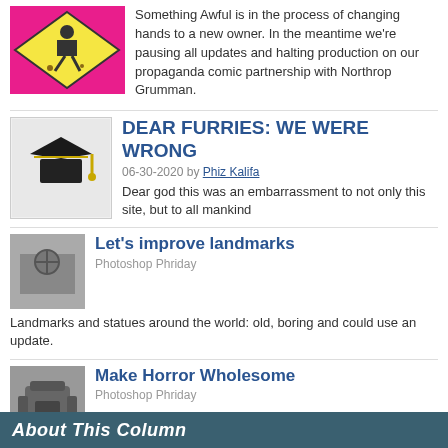[Figure (illustration): Pink/yellow construction worker warning sign thumbnail]
Something Awful is in the process of changing hands to a new owner. In the meantime we're pausing all updates and halting production on our propaganda comic partnership with Northrop Grumman.
[Figure (illustration): Black graduation cap thumbnail]
DEAR FURRIES: WE WERE WRONG
06-30-2020 by Phiz Kalifa
Dear god this was an embarrassment to not only this site, but to all mankind
[Figure (photo): Grayscale statue/landmark thumbnail]
Let's improve landmarks
Photoshop Phriday
Landmarks and statues around the world: old, boring and could use an update.
[Figure (photo): Gray gaming chair thumbnail]
Make Horror Wholesome
Photoshop Phriday
Join the SA Forum photoshop goons in their quest to make horror wholesome!
[Figure (photo): Star Wars movie thumbnail]
Every Conceivable Way EA Could Screw Up Star Wars: Squadrons
Video Game Article
Yes, there are finally enough games for a new round of One Sentence Reviews
About This Column